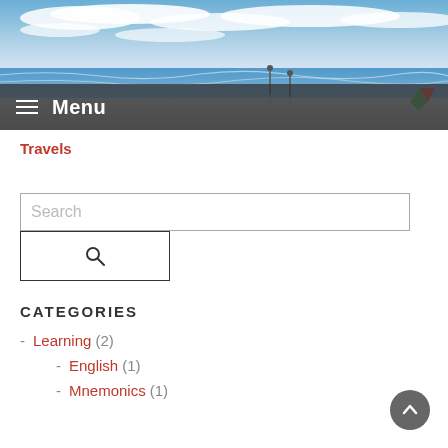[Figure (photo): Beach scene with ocean waves, sandy shore, cloudy sky, and people in the distance. Colorful kite visible on the right. Menu bar overlay at bottom with hamburger icon and 'Menu' text.]
Travels
[Figure (other): Search input field with placeholder text 'Search' and a search button with magnifying glass icon below it.]
CATEGORIES
- Learning (2)
- English (1)
- Mnemonics (1)